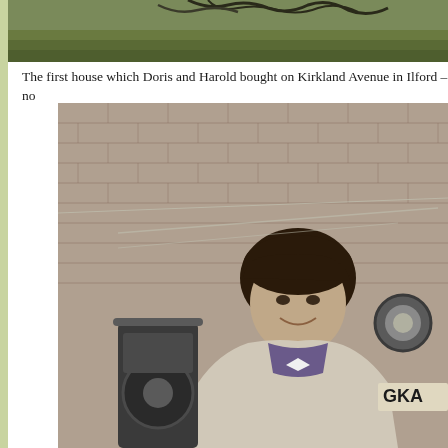[Figure (photo): Top portion of a black and white photograph showing trees and grass, partially cut off at the top of the page.]
The first house which Doris and Harold bought on Kirkland Avenue in Ilford – no
[Figure (photo): Black and white photograph of a smiling woman with curly dark hair, wearing a light cardigan and a polka dot blouse with a white bow. She is standing in front of a brick wall with a motorcycle visible to her left. A partial license plate reading 'GKA' is visible on the motorcycle.]